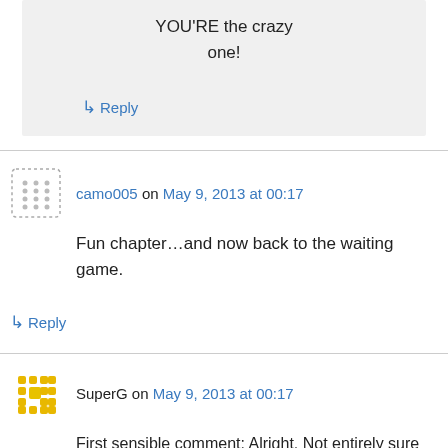YOU'RE the crazy one!
↳ Reply
camo005 on May 9, 2013 at 00:17
Fun chapter…and now back to the waiting game.
↳ Reply
SuperG on May 9, 2013 at 00:17
First sensible comment: Alright. Not entirely sure what's going on with the portal, or WTF Alexandria is going to DO, but… this should be